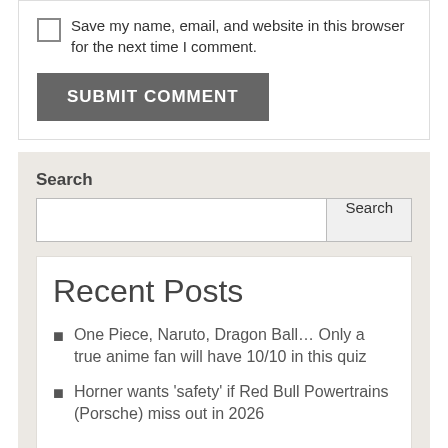Save my name, email, and website in this browser for the next time I comment.
SUBMIT COMMENT
Search
Recent Posts
One Piece, Naruto, Dragon Ball… Only a true anime fan will have 10/10 in this quiz
Horner wants 'safety' if Red Bull Powertrains (Porsche) miss out in 2026